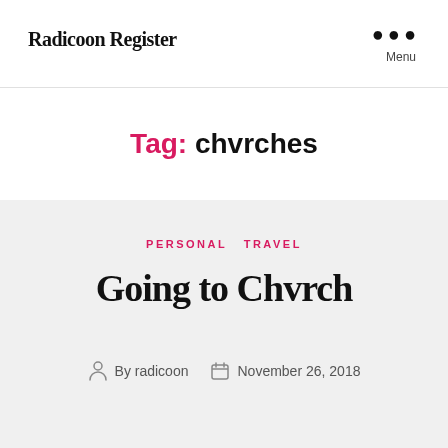Radicoon Register
Tag: chvrches
PERSONAL   TRAVEL
Going to Chvrch
By radicoon   November 26, 2018